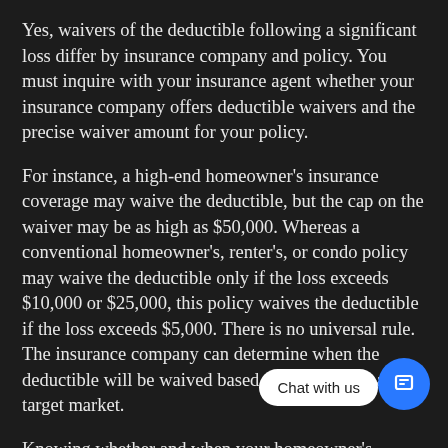Yes, waivers of the deductible following a significant loss differ by insurance company and policy. You must inquire with your insurance agent whether your insurance company offers deductible waivers and the precise waiver amount for your policy.
For instance, a high-end homeowner's insurance coverage may waive the deductible, but the cap on the waiver may be as high as $50,000. Whereas a conventional homeowner's, renter's, or condo policy may waive the deductible only if the loss exceeds $10,000 or $25,000, this policy waives the deductible if the loss exceeds $5,000. There is no universal rule. The insurance company can determine when the deductible will be waived based on its clientele and target market.
Knowing whether and when your homeowner's insurance policy waives the deductible can be extremely helpful when considering whether to use your insurance deductible to save money. This is a competitive advantage and value-add that insurance companies offer their